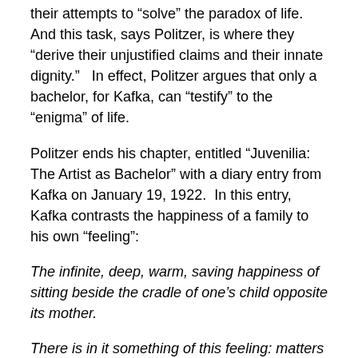their attempts to “solve” the paradox of life.  And this task, says Politzer, is where they “derive their unjustified claims and their innate dignity.”   In effect, Politzer argues that only a bachelor, for Kafka, can “testify” to the “enigma” of life.
Politzer ends his chapter, entitled “Juvenilia: The Artist as Bachelor” with a diary entry from Kafka on January 19, 1922.  In this entry, Kafka contrasts the happiness of a family to his own “feeling”:
The infinite, deep, warm, saving happiness of sitting beside the cradle of one’s child opposite its mother.
There is in it something of this feeling: matters no longer rest with you unless you wish it so.  In contrast, the feeling of those who have no children: it perpetually rests with you, whether you will or not, every moment to the end.